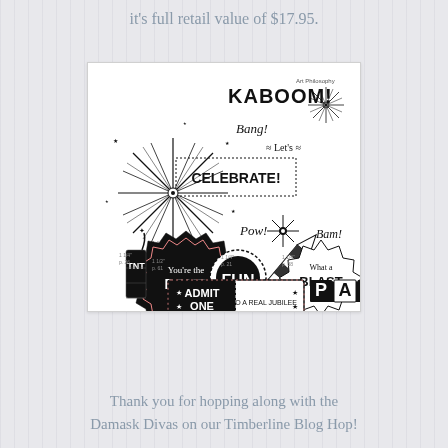it's full retail value of $17.95.
[Figure (illustration): A rubber stamp set sheet showing party/celebration themed stamps: KABOOM!, Bang!, Let's CELEBRATE! on a banner, You're the BOMB on a starburst badge, FUN in a circle, What a BLAST in a spiked shape, Pow!, Bam!, TNT dynamite stick, ADMIT ONE ticket, PARTY text, firework burst designs, and a rocket. Art Philosophy branding shown.]
Thank you for hopping along with the Damask Divas on our Timberline Blog Hop!